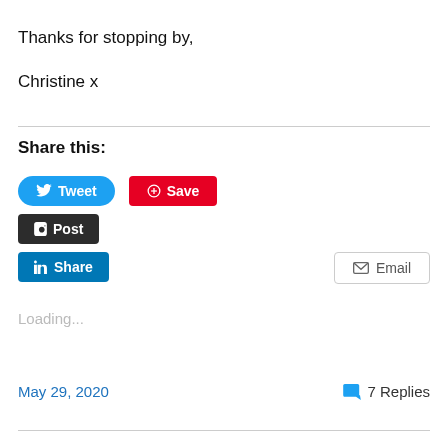Thanks for stopping by,
Christine x
Share this:
[Figure (infographic): Social sharing buttons: Tweet (Twitter, blue), Save (Pinterest, red), Post (Tumblr, dark), Email (grey outline), Share (LinkedIn, blue)]
Loading...
May 29, 2020
7 Replies